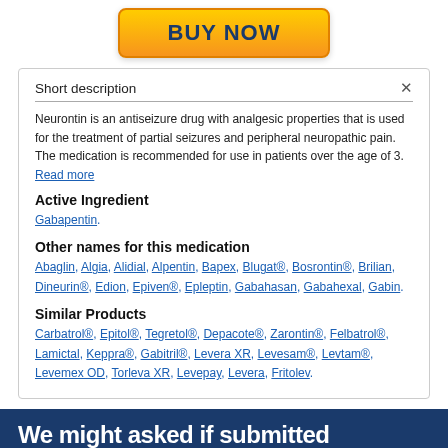[Figure (other): BUY NOW button with gold/orange gradient background]
Short description
Neurontin is an antiseizure drug with analgesic properties that is used for the treatment of partial seizures and peripheral neuropathic pain. The medication is recommended for use in patients over the age of 3. Read more
Active Ingredient
Gabapentin.
Other names for this medication
Abaglin, Algia, Alidial, Alpentin, Bapex, Blugat®, Bosrontin®, Brilian, Dineurin®, Edion, Epiven®, Epleptin, Gabahasan, Gabahexal, Gabin.
Similar Products
Carbatrol®, Epitol®, Tegretol®, Depacote®, Zarontin®, Felbatrol®, Lamictal, Keppra®, Gabitril®, Levera XR, Levesam®, Levtam®, Levemex OD, Torleva XR, Levepay, Levera, Fritolev.
We might asked if submitted